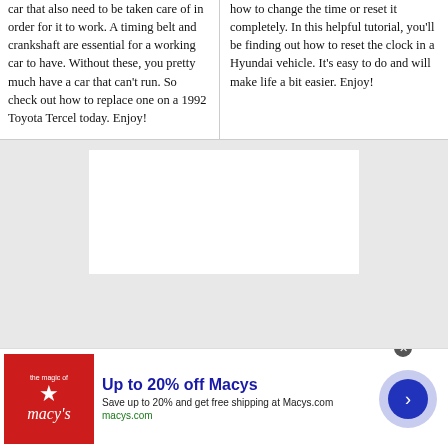car that also need to be taken care of in order for it to work. A timing belt and crankshaft are essential for a working car to have. Without these, you pretty much have a car that can't run. So check out how to replace one on a 1992 Toyota Tercel today. Enjoy!
how to change the time or reset it completely. In this helpful tutorial, you'll be finding out how to reset the clock in a Hyundai vehicle. It's easy to do and will make life a bit easier. Enjoy!
[Figure (other): White rectangular box on gray background]
[Figure (other): Advertisement banner for Macy's: 'Up to 20% off Macys. Save up to 20% and get free shipping at Macys.com. macys.com' with Macy's logo and arrow button.]